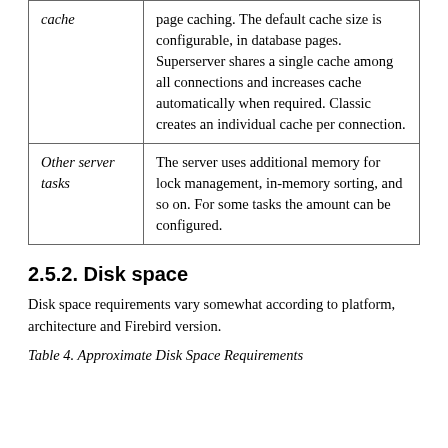|  |  |
| --- | --- |
| cache | page caching. The default cache size is configurable, in database pages. Superserver shares a single cache among all connections and increases cache automatically when required. Classic creates an individual cache per connection. |
| Other server tasks | The server uses additional memory for lock management, in-memory sorting, and so on. For some tasks the amount can be configured. |
2.5.2. Disk space
Disk space requirements vary somewhat according to platform, architecture and Firebird version.
Table 4. Approximate Disk Space Requirements